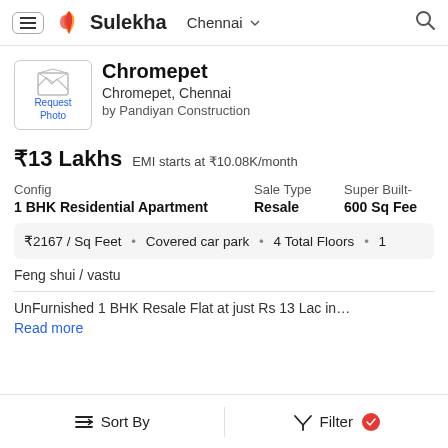Sulekha | Chennai
[Figure (illustration): Request Photo placeholder with envelope icon]
Chromepet
Chromepet, Chennai
by Pandiyan Construction
₹13 Lakhs   EMI starts at ₹10.08K/month
| Config | Sale Type | Super Built- |
| --- | --- | --- |
| 1 BHK Residential Apartment | Resale | 600 Sq Fee |
₹2167 / Sq Feet  •  Covered car park  •  4 Total Floors  •  1
Feng shui / vastu
UnFurnished 1 BHK Resale Flat at just Rs 13 Lac in…
Read more
Sort By    Filter